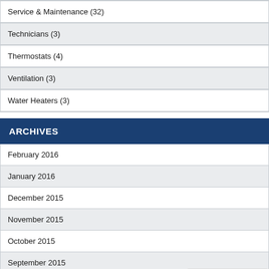Service & Maintenance (32)
Technicians (3)
Thermostats (4)
Ventilation (3)
Water Heaters (3)
ARCHIVES
February 2016
January 2016
December 2015
November 2015
October 2015
September 2015
August 2015
July 2015